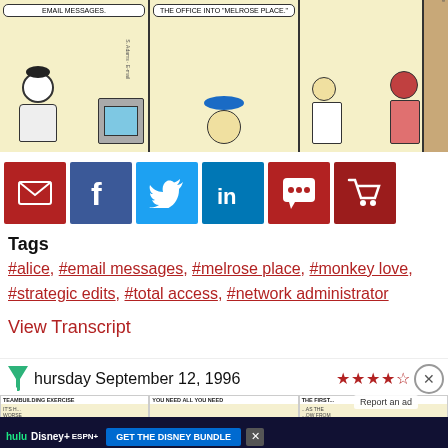[Figure (illustration): Dilbert comic strip showing three panels: left panel with Dogbert at a computer with speech bubble 'EMAIL MESSAGES.', middle panel with character thinking about turning the office into 'Melrose Place.', right panel with Dilbert and Alice.]
[Figure (infographic): Social sharing buttons row: email (red), Facebook (blue), Twitter (light blue), LinkedIn (blue), comment (red), shopping cart (dark red)]
Tags
#alice, #email messages, #melrose place, #monkey love, #strategic edits, #total access, #network administrator
View Transcript
Thursday September 12, 1996
[Figure (illustration): Three small comic strip thumbnails for the next comic strips, with an advertisement banner for Disney Bundle (Hulu, Disney+, ESPN+) overlaid.]